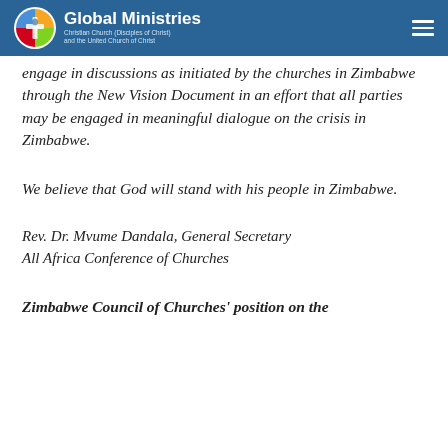Global Ministries — Christian Church (Disciples of Christ) and the United Church of Christ
engage in discussions as initiated by the churches in Zimbabwe through the New Vision Document in an effort that all parties may be engaged in meaningful dialogue on the crisis in Zimbabwe.
We believe that God will stand with his people in Zimbabwe.
Rev. Dr. Mvume Dandala, General Secretary All Africa Conference of Churches
Zimbabwe Council of Churches' position on the